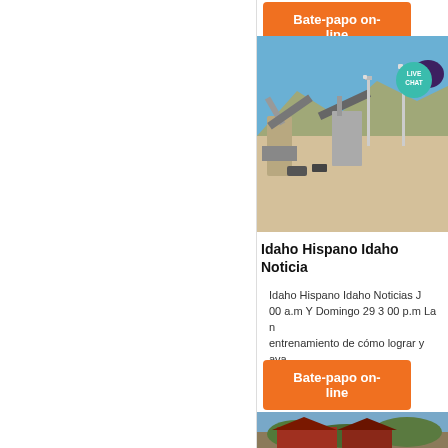[Figure (other): Orange 'Bate-papo on-line' button at top of right column]
[Figure (photo): Photo of a quarry/mining facility with conveyor belts and mountains in background, with a 'LIVE CHAT' badge overlay in teal/purple]
Idaho Hispano Idaho Noticia
Idaho Hispano Idaho Noticias J... 00 a.m Y Domingo 29 3 00 p.m La n entrenamiento de cómo lograr y ava
[Figure (other): Orange 'Bate-papo on-line' button]
[Figure (photo): Partial photo of red/brown building with trees at bottom]